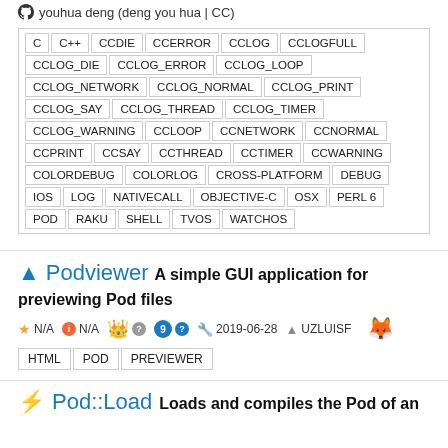youhua deng (deng you hua | CC)
C C++ CCDIE CCERROR CCLOG CCLOGFULL CCLOG_DIE CCLOG_ERROR CCLOG_LOOP CCLOG_NETWORK CCLOG_NORMAL CCLOG_PRINT CCLOG_SAY CCLOG_THREAD CCLOG_TIMER CCLOG_WARNING CCLOOP CCNETWORK CCNORMAL CCPRINT CCSAY CCTHREAD CCTIMER CCWARNING COLORDEBUG COLORLOG CROSS-PLATFORM DEBUG IOS LOG NATIVECALL OBJECTIVE-C OSX PERL 6 POD RAKU SHELL TVOS WATCHOS
Podviewer A simple GUI application for previewing Pod files
N/A N/A 2019-06-28 UZLUISF
HTML POD PREVIEWER
Pod::Load Loads and compiles the Pod of an